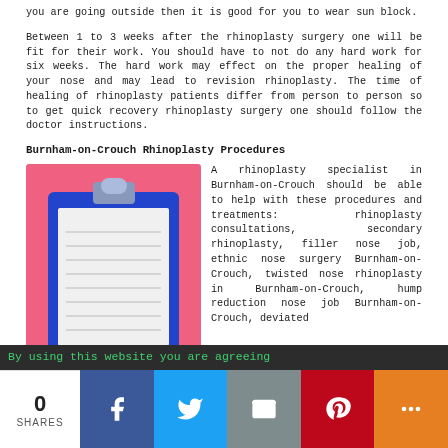you are going outside then it is good for you to wear sun block.
Between 1 to 3 weeks after the rhinoplasty surgery one will be fit for their work. You should have to not do any hard work for six weeks. The hard work may effect on the proper healing of your nose and may lead to revision rhinoplasty. The time of healing of rhinoplasty patients differ from person to person so to get quick recovery rhinoplasty surgery one should follow the doctor instructions.
Burnham-on-Crouch Rhinoplasty Procedures
[Figure (illustration): A clipboard illustration on a pink/red background with a blue clipboard holding lined paper]
A rhinoplasty specialist in Burnham-on-Crouch should be able to help with these procedures and treatments: rhinoplasty consultations, secondary rhinoplasty, filler nose job, ethnic nose surgery Burnham-on-Crouch, twisted nose rhinoplasty in Burnham-on-Crouch, hump reduction nose job Burnham-on-Crouch, deviated
By using this website you are agreeing
0 SHARES  [Facebook] [Twitter] [Email] [Pinterest] [More]